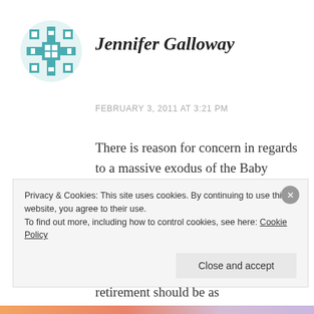[Figure (logo): Teal geometric/snowflake-style avatar icon for user Jennifer Galloway]
Jennifer Galloway
FEBRUARY 3, 2011 AT 3:21 PM
There is reason for concern in regards to a massive exodus of the Baby Boomers from organizations. I do, however, believe there will not be this great departure of this generation from their current positions. The Baby Boomers are redefining what retirement should be as
Privacy & Cookies: This site uses cookies. By continuing to use this website, you agree to their use.
To find out more, including how to control cookies, see here: Cookie Policy
Close and accept